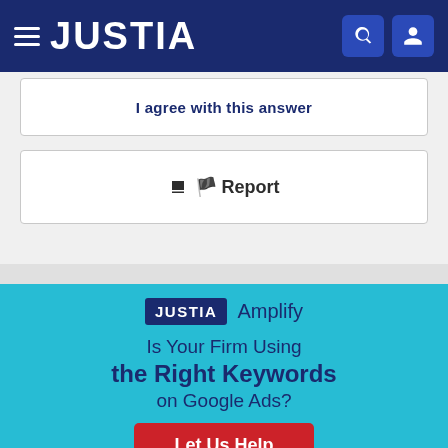JUSTIA
I agree with this answer
🚩 Report
[Figure (infographic): Justia Amplify advertisement on a teal/cyan background. Shows JUSTIA logo badge and 'Amplify' text, headline 'Is Your Firm Using the Right Keywords on Google Ads?', a red 'Let Us Help' button, and illustrated cartoon people with speech bubbles containing question marks.]
Is Your Firm Using the Right Keywords on Google Ads?
Let Us Help